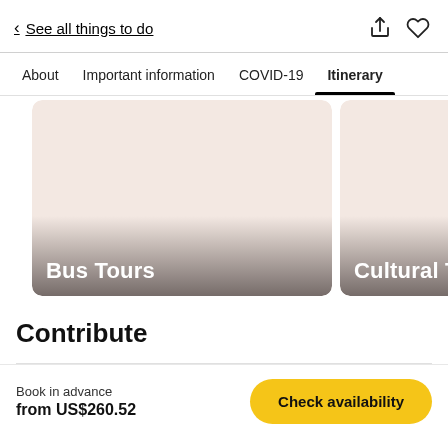< See all things to do
About  Important information  COVID-19  Itinerary
[Figure (photo): Three horizontally scrollable category cards: 'Bus Tours', 'Cultural Tours', and a partially visible third card, with a circular next-arrow button overlapping the right edge. Cards have a beige/pink background with a dark gradient at the bottom and white bold text labels.]
Contribute
Book in advance
from US$260.52
Check availability